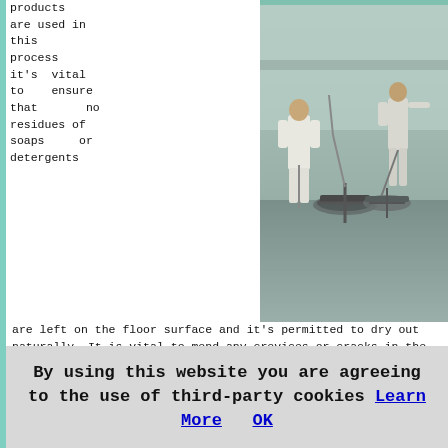products are used in this process it's vital to ensure that no residues of soaps or detergents
[Figure (photo): Two workers in white overalls using power trowel machines to screed a large concrete floor in an industrial building]
are left on the floor surface and it's permitted to dry out naturally. It is vital to mend any crevices or cracks in the surface to prevent them being mirrored and "travelling" up into your freshly screeded floor. An on-site survey will enable the screeding installer to highlight these preparation areas and complete them before commencing to apply the screed layer.
Before any screeding can be poured a damp proof membrane (DPM) will have to be put down to protect the final flooring and screed from moisture damage. Different thicknesses of polythene sheets could be used as a damp proof membrane and also act as a buffer for the screed and any insulation panels.
By using this website you are agreeing to the use of third-party cookies Learn More OK